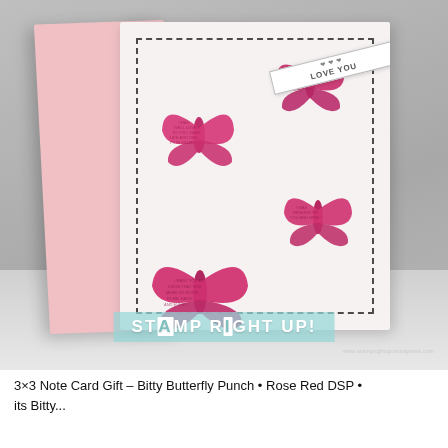[Figure (photo): A pink handmade note card standing upright, featuring a white front panel with a dashed-line border rectangle. Three pink butterfly cutouts (Bitty Butterfly Punch) made from Rose Red DSP are arranged on the card. A 'LOVE YOU' banner is attached near the top right butterfly. The card is photographed against a light grey background. A 'STAMP RIGHT UP!' watermark logo in teal is overlaid at the bottom of the photo.]
3×3 Note Card Gift – Bitty Butterfly Punch • Rose Red DSP • its Bitty...